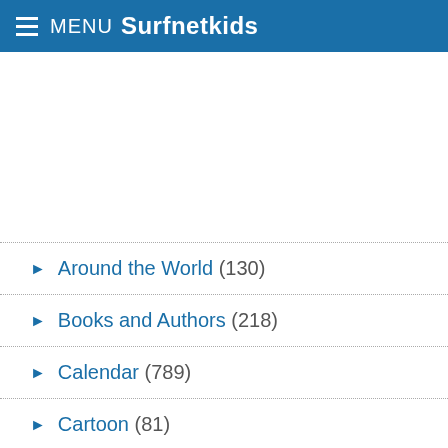MENU Surfnetkids
► Around the World (130)
► Books and Authors (218)
► Calendar (789)
► Cartoon (81)
► Celebrations (109)
► Clothes (82)
► Coloring Games (168)